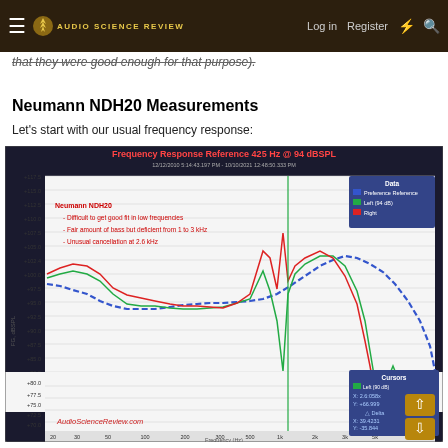Audio Science Review — Log in | Register
that they were good enough for that purpose).
Neumann NDH20 Measurements
Let's start with our usual frequency response:
[Figure (continuous-plot): Frequency response plot of Neumann NDH20 headphones showing Left (94dB, green), Right (red), and Preference Reference (blue dashed) curves from 20Hz to 10kHz. Annotations note: Difficult to get good fit in low frequencies; Fair amount of bass but deficient from 1 to 3 kHz; Unusual cancellation at 2.6 kHz. Cursor at X=2.6:058x, Y=+66.999. Delta X=39.4231, Y=-35.844.]